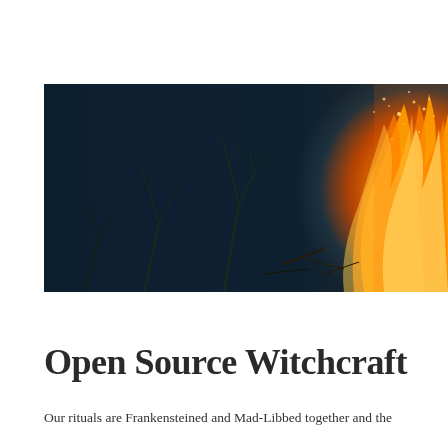[Figure (photo): A bonfire or large outdoor fire at night. The right side shows bright orange and yellow flames with sparks flying upward. The left side is dark teal/navy with bare tree branches silhouetted against the darkness. The overall color palette is dark teal shadows on the left transitioning to warm golden-orange fire on the right.]
Open Source Witchcraft
Our rituals are Frankensteined and Mad-Libbed together and the